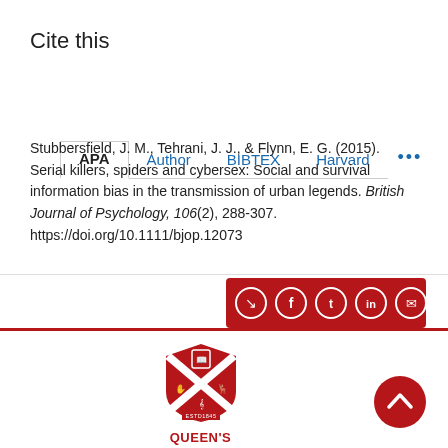Cite this
APA | Author | BIBTEX | Harvard ...
Stubbersfield, J. M., Tehrani, J. J., & Flynn, E. G. (2015). Serial killers, spiders and cybersex: Social and survival information bias in the transmission of urban legends. British Journal of Psychology, 106(2), 288-307. https://doi.org/10.1111/bjop.12073
[Figure (infographic): Red share bar with social media icons: share, Facebook, Twitter, LinkedIn, email]
[Figure (logo): Queen's University Belfast logo with shield and text]